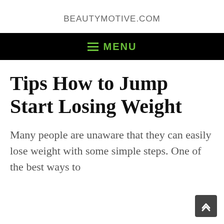BEAUTYMOTIVE.COM
MENU
Tips How to Jump Start Losing Weight
Many people are unaware that they can easily lose weight with some simple steps. One of the best ways to